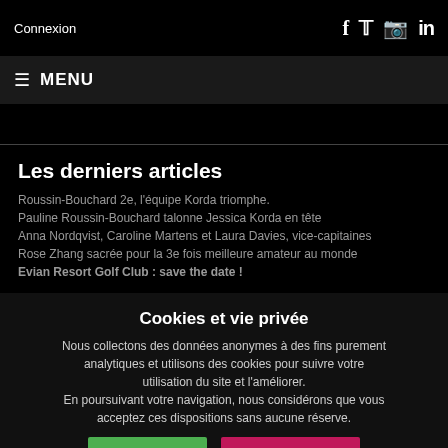Connexion   f  🐦  📷  in
≡  MENU
Les derniers articles
Roussin-Bouchard 2e, l'équipe Korda triomphe.
Pauline Roussin-Bouchard talonne Jessica Korda en tête
Anna Nordqvist, Caroline Martens et Laura Davies, vice-capitaines
Rose Zhang sacrée pour la 3e fois meilleure amateur au monde
Evian Resort Golf Club : save the date !
Cookies et vie privée
Nous collectons des données anonymes à des fins purement analytiques et utilisons des cookies pour suivre votre utilisation du site et l'améliorer.
En poursuivant votre navigation, nous considérons que vous acceptez ces dispositions sans aucune réserve.
J'accepte   En savoir plus